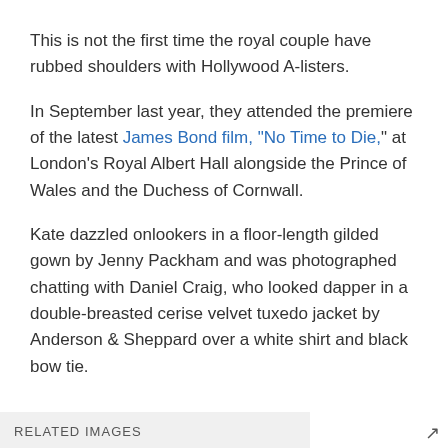This is not the first time the royal couple have rubbed shoulders with Hollywood A-listers.
In September last year, they attended the premiere of the latest James Bond film, "No Time to Die," at London's Royal Albert Hall alongside the Prince of Wales and the Duchess of Cornwall.
Kate dazzled onlookers in a floor-length gilded gown by Jenny Packham and was photographed chatting with Daniel Craig, who looked dapper in a double-breasted cerise velvet tuxedo jacket by Anderson & Sheppard over a white shirt and black bow tie.
RELATED IMAGES